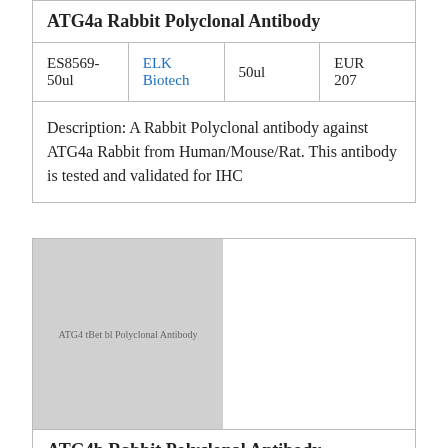ATG4a Rabbit Polyclonal Antibody
| Product | Supplier | Size | Price |
| --- | --- | --- | --- |
| ES8569-50ul | ELK Biotech | 50ul | EUR 207 |
Description: A Rabbit Polyclonal antibody against ATG4a Rabbit from Human/Mouse/Rat. This antibody is tested and validated for IHC
[Figure (photo): Placeholder image for ATG4b Rabbit Polyclonal Antibody product]
ATG4b Rabbit Polyclonal Antibody
| Product | Supplier | Size | Price |
| --- | --- | --- | --- |
| ES8570- | ELK | 100ul | EUR |